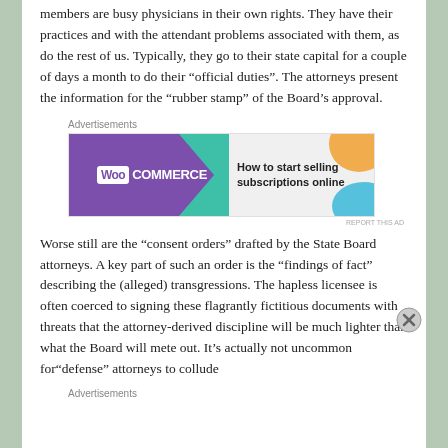members are busy physicians in their own rights. They have their practices and with the attendant problems associated with them, as do the rest of us. Typically, they go to their state capital for a couple of days a month to do their "official duties". The attorneys present the information for the "rubber stamp" of the Board's approval.
[Figure (other): WooCommerce advertisement banner: 'How to start selling subscriptions online']
Worse still are the "consent orders" drafted by the State Board attorneys. A key part of such an order is the "findings of fact" describing the (alleged) transgressions. The hapless licensee is often coerced to signing these flagrantly fictitious documents with threats that the attorney-derived discipline will be much lighter than what the Board will mete out. It's actually not uncommon for "defense" attorneys to collude
Advertisements